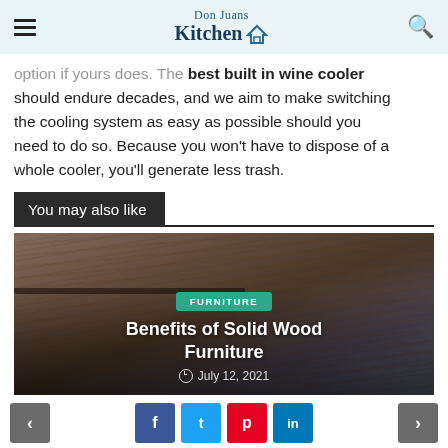Don Juans Kitchen
option if yours does. The best built in wine cooler should endure decades, and we aim to make switching the cooling system as easy as possible should you need to do so. Because you won't have to dispose of a whole cooler, you'll generate less trash.
You may also like
[Figure (photo): Photo of a solid wood furniture surface (table/desk) with a dark background, overlaid with a teal FURNITURE badge, title 'Benefits of Solid Wood Furniture', and date 'July 12, 2021']
< f t p in >